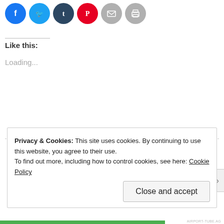[Figure (other): Row of social media share icons: Facebook (blue), Twitter (light blue), Tumblr (dark navy), Pinterest (red), Email (grey), Print (grey)]
Like this:
Loading...
[Figure (other): Dashed horizontal divider line with three circular share/related icons in the center]
Privacy & Cookies: This site uses cookies. By continuing to use this website, you agree to their use.
To find out more, including how to control cookies, see here: Cookie Policy
Close and accept